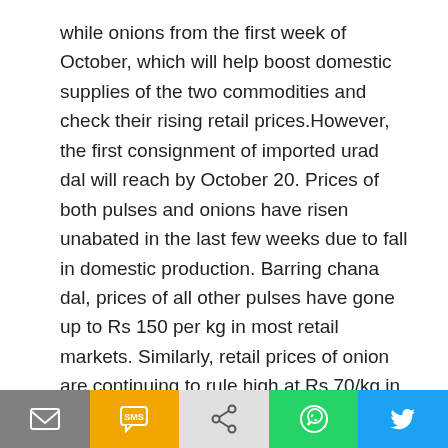while onions from the first week of October, which will help boost domestic supplies of the two commodities and check their rising retail prices.However, the first consignment of imported urad dal will reach by October 20. Prices of both pulses and onions have risen unabated in the last few weeks due to fall in domestic production. Barring chana dal, prices of all other pulses have gone up to Rs 150 per kg in most retail markets. Similarly, retail prices of onion are continuing to rule high at Rs 70/kg in Delhi and the same trend prevails in other parts of the country. MMTC had floated the tender to import 5,000 tonnes of Tur dal. The first tranche of over 1,800 tonnes will arrive at the ports on September 23 and 24.
America wants to be 'India's best freind', says US vice
[Figure (infographic): Social sharing bar with icons for email (grey), SMS (yellow/orange), share (grey), WhatsApp (green), and Twitter (blue)]